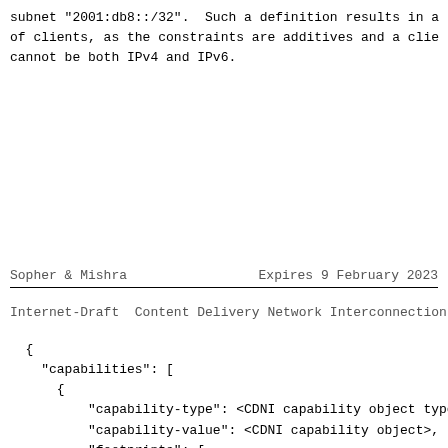subnet "2001:db8::/32".  Such a definition results in a
of clients, as the constraints are additives and a clie
cannot be both IPv4 and IPv6.
Sopher & Mishra                Expires 9 February 2023
Internet-Draft  Content Delivery Network Interconnection
{
    "capabilities": [
      {
          "capability-type": <CDNI capability object type>,
          "capability-value": <CDNI capability object>,
          "footprints": [
              {
                  "footprint-type": "ipv4cidr",
                  "footprint-value": ["192.0.2.0/24"]